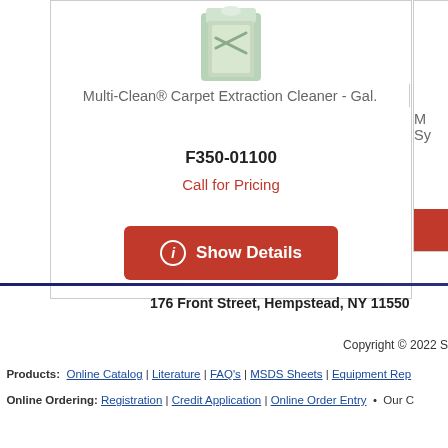[Figure (photo): Product image of Multi-Clean carpet extraction cleaner in a green container]
Multi-Clean® Carpet Extraction Cleaner - Gal.
F350-01100
Call for Pricing
Show Details
176 Front Street, Hempstead, NY 11550
Copyright © 2022 S
Products: Online Catalog | Literature | FAQ's | MSDS Sheets | Equipment Rep
Online Ordering: Registration | Credit Application | Online Order Entry • Our C